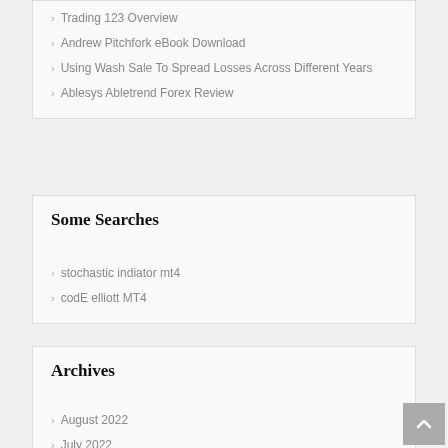Trading 123 Overview
Andrew Pitchfork eBook Download
Using Wash Sale To Spread Losses Across Different Years
Ablesys Abletrend Forex Review
Some Searches
stochastic indiator mt4
codE elliott MT4
Archives
August 2022
July 2022